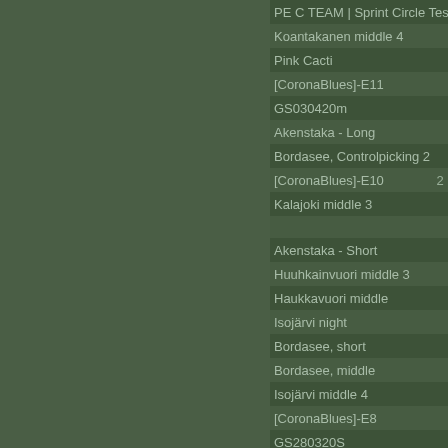| Name | Col1 | Col2 |
| --- | --- | --- |
| PE C TEAM | Sprint Circle Testing |  |  |
| Koantakanen middle 4 |  |  |
| Pink Cacti |  |  |
| [CoronaBlues]-E11 |  | 1 |
| GS030420m |  |  |
| Akenstaka - Long |  |  |
| Bordasee, Controlpicking 2 |  |  |
| [CoronaBlues]-E10 | 2 | 1 |
| Kalajoki middle 3 |  |  |
|  | 2 |  |
| Akenstaka - Short |  |  |
| Huuhkainvuori middle 3 |  |  |
| Haukkavuori middle |  |  |
| Isojärvi night |  |  |
| Bordasee, short |  |  |
| Bordasee, middle |  |  |
| Isojärvi middle 4 |  |  |
| [CoronaBlues]-E8 |  |  |
| GS280320S |  |  |
| Kangerluarsunnguaq - Middle |  |  |
|  | 2 |  |
| Gronholt Hegn - Middle 2 |  |  |
| Gronholt Hegn - Middle |  |  |
| GS270320L |  | 1 |
| GS270320m |  |  |
| Kvarn | Middle |  |  |
| [CoronaBlues]-E7 |  |  |
| GS260320 |  |  |
| [CoronaBlues]-E6 |  |  |